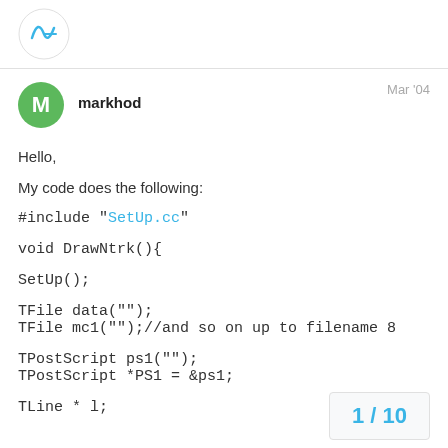[logo]
markhod
Mar '04
Hello,
My code does the following:
#include "SetUp.cc"
void DrawNtrk(){
SetUp();
TFile data("");
TFile mc1("");//and so on up to filename 8
TPostScript ps1("");
TPostScript *PS1 = &ps1;
TLine * l;
1 / 10